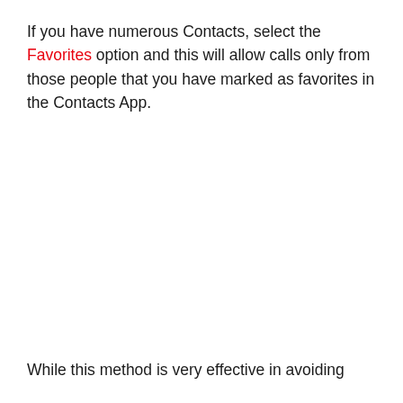If you have numerous Contacts, select the Favorites option and this will allow calls only from those people that you have marked as favorites in the Contacts App.
While this method is very effective in avoiding